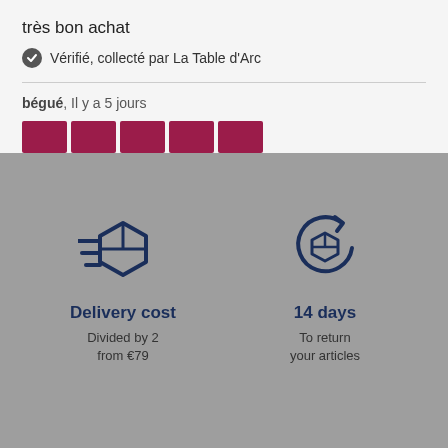très bon achat
✔ Vérifié, collecté par La Table d'Arc
bégué, Il y a 5 jours
[Figure (other): Five dark red/maroon star rating blocks]
[Figure (infographic): Two icons with labels: a fast delivery box icon labeled 'Delivery cost / Divided by 2 / from €79', and a return/refresh box icon labeled '14 days / To return / your articles']